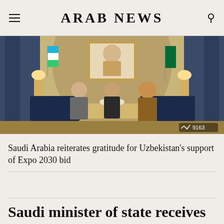ARAB NEWS
[Figure (photo): Three men seated in an ornate golden reception room with Saudi and Uzbekistan flags. A framed portrait hangs on the wall. Photo counter shows 9163.]
Saudi Arabia reiterates gratitude for Uzbekistan's support of Expo 2030 bid
Saudi minister of state receives